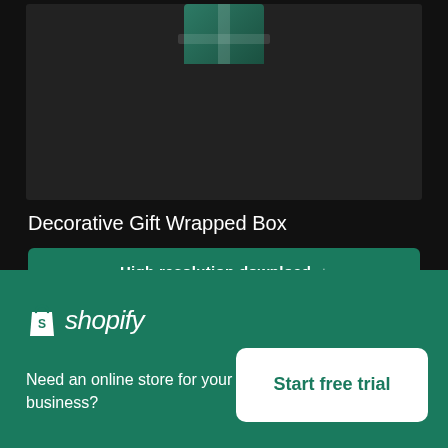[Figure (photo): Partial top view of a dark-background image showing a decorative gift wrapped box, cropped at top]
Decorative Gift Wrapped Box
High resolution download ↓
[Figure (photo): Photo of a brown kraft paper package with a red ribbon on a marble/white background, partially cropped]
✕
[Figure (logo): Shopify logo with shopping bag icon and italic wordmark]
Need an online store for your business?
Start free trial